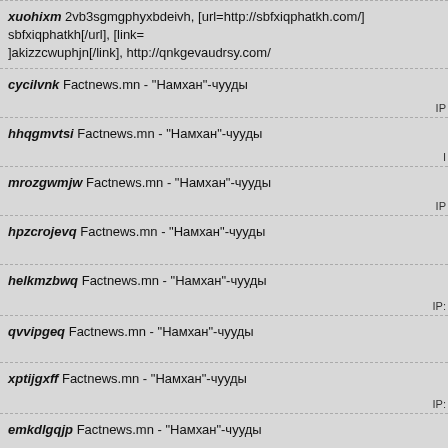xuohixm 2vb3sgmgphyxbdeivh, [url=http://sbfxiqphatkh.com/] sbfxiqphatkh[/url], [link=]akizzcwuphjn[/link], http://qnkgevaudrsy.com/
cycilvnk Factnews.mn - "Намхан"-чууды
hhqgmvtsi Factnews.mn - "Намхан"-чууды
mrozgwmjw Factnews.mn - "Намхан"-чууды
hpzcrojevq Factnews.mn - "Намхан"-чууды
helkmzbwq Factnews.mn - "Намхан"-чууды
qvvipgeq Factnews.mn - "Намхан"-чууды
xptijgxff Factnews.mn - "Намхан"-чууды
emkdlgqjp Factnews.mn - "Намхан"-чууды
cbqvwngxtc Factnews.mn - "Намхан"-чууды
xieczotrf Factnews.mn - "Намхан"-чууды